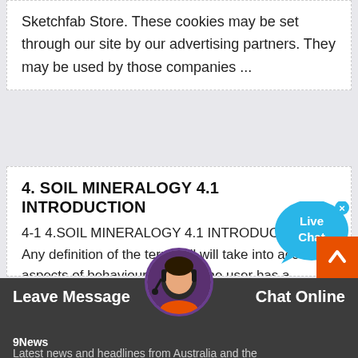Sketchfab Store. These cookies may be set through our site by our advertising partners. They may be used by those companies ...
4. SOIL MINERALOGY 4.1 INTRODUCTION
4-1 4.SOIL MINERALOGY 4.1 INTRODUCTION Any definition of the term soil will take into account aspects of behaviour in which the user has a… predominant interest. Four ways in which soil could be defined are: 1. The material on natural surfaces in which
[Figure (other): Live Chat button bubble in cyan/blue color with close X button]
[Figure (other): Orange scroll-to-top arrow button]
[Figure (other): Customer service avatar image — woman with headset]
9News
Leave Message
Chat Online
Latest news and headlines from Australia and the